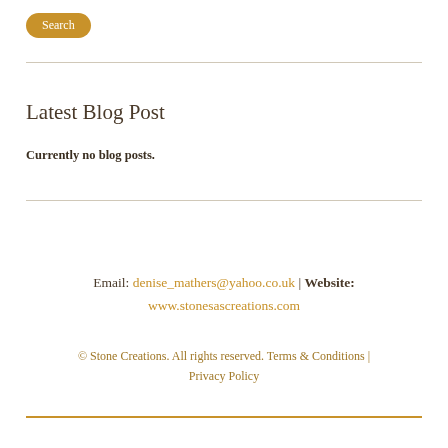Search
Latest Blog Post
Currently no blog posts.
Email: denise_mathers@yahoo.co.uk | Website: www.stonesascreations.com
© Stone Creations. All rights reserved. Terms & Conditions | Privacy Policy